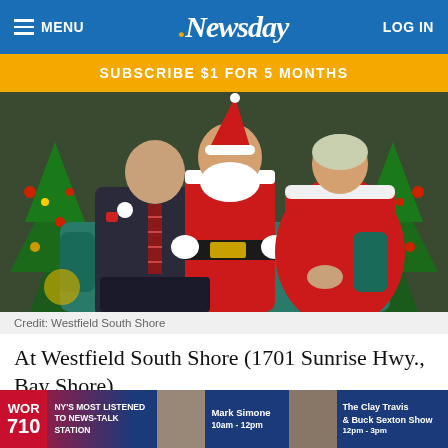MENU | .Newsday | LOG IN
SUBSCRIBE $1 FOR 5 MONTHS
[Figure (photo): Three people sitting together — a man in a dark suit with plaid tie, Santa Claus in full costume, and a woman in a red dress with white fur trim. Christmas trees with ornaments visible in background.]
Credit: Westfield South Shore
At Westfield South Shore (1701 Sunrise Hwy., Bay Shore), Santa [ad overlay] rough Dec. 2[ad overlay]
[Figure (screenshot): WOR 710 radio advertisement banner: NY'S MOST LISTENED TO NEWS-TALK STATION — Mark Simone 10am - 12pm — The Clay Travis & Buck Sexton Show 12pm - 3pm]